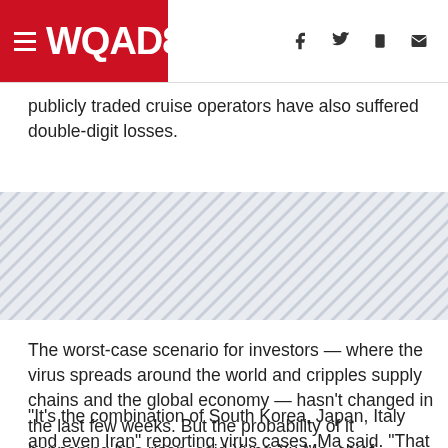WQAD8
publicly traded cruise operators have also suffered double-digit losses.
[Figure (other): Advertisement banner with diagonal hatch pattern (grey striped background)]
The worst-case scenario for investors — where the virus spreads around the world and cripples supply chains and the global economy — hasn't changed in the last few weeks. But the probability of it happening has risen, said Yung-Yu Ma, chief investment strategist at BMO Wealth Management.
"It's the combination of South Korea, Japan, Italy and even Iran" reporting virus cases, Ma said. "That really woke up the